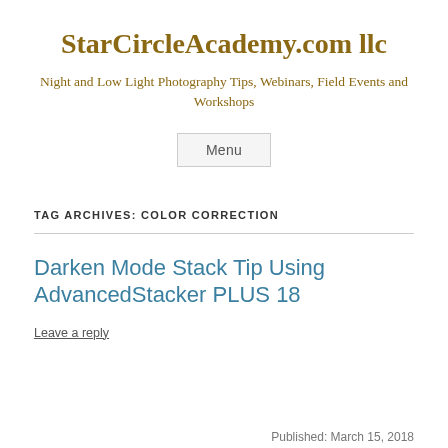StarCircleAcademy.com llc
Night and Low Light Photography Tips, Webinars, Field Events and Workshops
Menu
TAG ARCHIVES: COLOR CORRECTION
Darken Mode Stack Tip Using AdvancedStacker PLUS 18
Leave a reply
Published: March 15, 2018